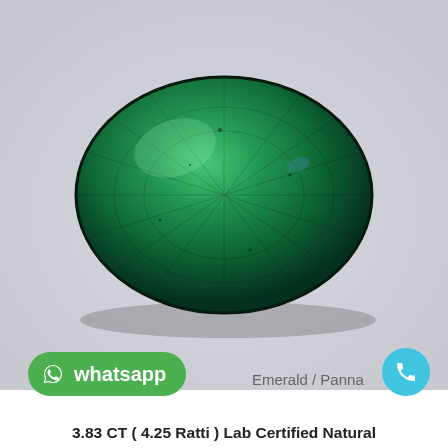[Figure (photo): A faceted oval natural green emerald gemstone photographed on a light grey/white background. The stone is deep green with visible natural inclusions and facets.]
whatsapp
Emerald / Panna
3.83 CT ( 4.25 Ratti ) Lab Certified Natural